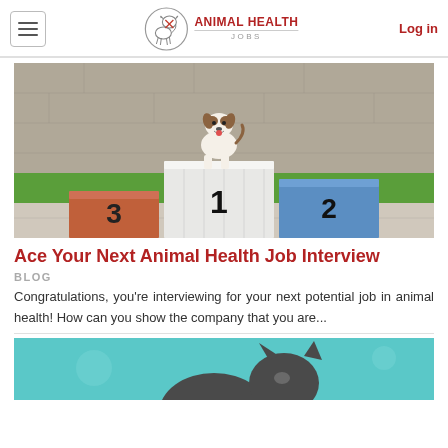ANIMAL HEALTH JOBS — Log in
[Figure (photo): Photo of a small Jack Russell terrier dog sitting on a first-place podium with numbered platforms 1, 2, 3 in white, blue, and terracotta colors outdoors]
Ace Your Next Animal Health Job Interview
BLOG
Congratulations, you're interviewing for your next potential job in animal health! How can you show the company that you are...
[Figure (illustration): Partial image of what appears to be an animal (dark silhouette) on a teal/cyan background, cut off at bottom of page]